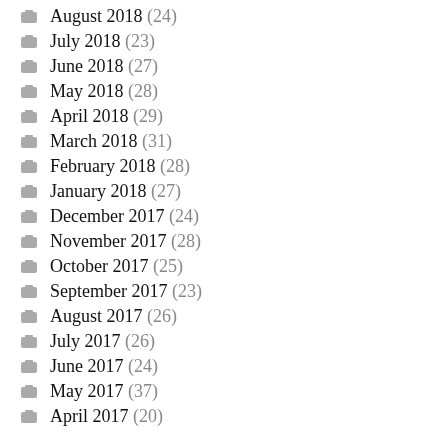August 2018 (24)
July 2018 (23)
June 2018 (27)
May 2018 (28)
April 2018 (29)
March 2018 (31)
February 2018 (28)
January 2018 (27)
December 2017 (24)
November 2017 (28)
October 2017 (25)
September 2017 (23)
August 2017 (26)
July 2017 (26)
June 2017 (24)
May 2017 (37)
April 2017 (20)